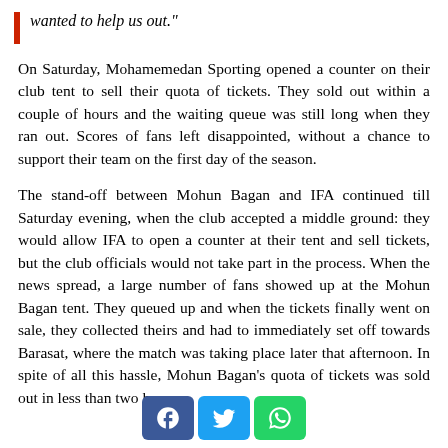wanted to help us out."
On Saturday, Mohamemedan Sporting opened a counter on their club tent to sell their quota of tickets. They sold out within a couple of hours and the waiting queue was still long when they ran out. Scores of fans left disappointed, without a chance to support their team on the first day of the season.
The stand-off between Mohun Bagan and IFA continued till Saturday evening, when the club accepted a middle ground: they would allow IFA to open a counter at their tent and sell tickets, but the club officials would not take part in the process. When the news spread, a large number of fans showed up at the Mohun Bagan tent. They queued up and when the tickets finally went on sale, they collected theirs and had to immediately set off towards Barasat, where the match was taking place later that afternoon. In spite of all this hassle, Mohun Bagan's quota of tickets was sold out in less than two hours.
[Figure (other): Social media share buttons: Facebook (blue), Twitter (blue), WhatsApp (green)]